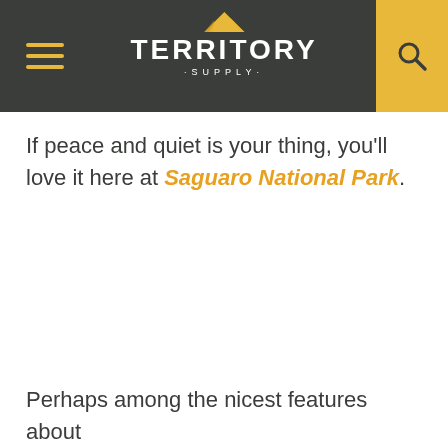TERRITORY SUPPLY
If peace and quiet is your thing, you'll love it here at Saguaro National Park.
Perhaps among the nicest features about